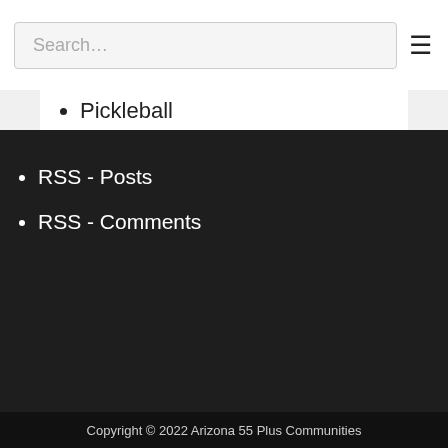Search…
Sun City Del Webb
Pickleball
Top 10 Reasons Why you should have a buyer's agent represent you when building new construction
805 S Roanoke Mesa AZ 85206 Sunland Village
RSS - Posts
RSS - Comments
Copyright © 2022 Arizona 55 Plus Communities